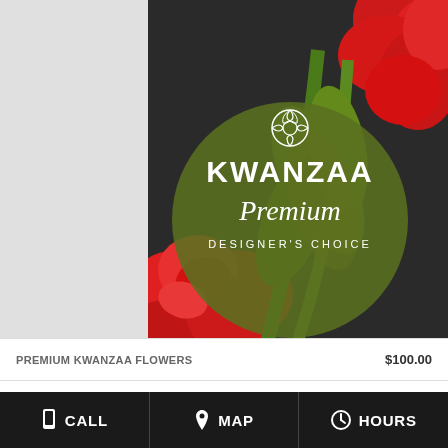[Figure (photo): Kwanzaa Premium Designer's Choice floral product image with red flowers and green leaves, overlaid with a dark olive green circle containing a white rose icon, 'KWANZAA' in bold white caps, 'Premium' in white script, and 'DESIGNER'S CHOICE' in small white caps]
PREMIUM KWANZAA FLOWERS   $100.00
🚚 SAME DAY DELIVERY!
CALL   MAP   HOURS